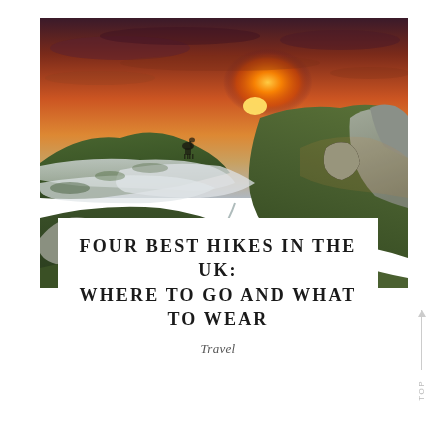[Figure (photo): Panoramic landscape photograph of rolling green hills with limestone rock formations under a dramatic orange and red sunset sky with low-lying mist in the valley below]
FOUR BEST HIKES IN THE UK: WHERE TO GO AND WHAT TO WEAR
Travel